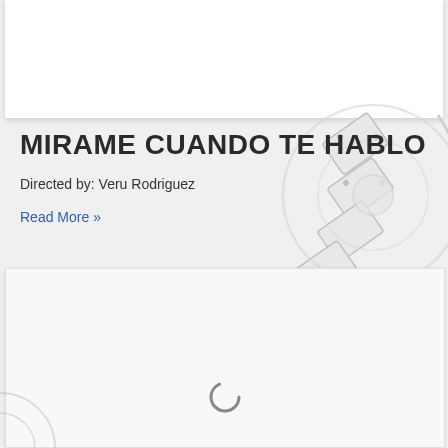[Figure (illustration): White card/panel at top of page, part of website screenshot layout]
[Figure (illustration): Film reel watermark graphic in light gray in background]
MIRAME CUANDO TE HABLO
Directed by: Veru Rodriguez
Read More »
[Figure (illustration): Bottom card panel with loading spinner icon]
[Figure (illustration): Partial film reel graphic in bottom left corner]